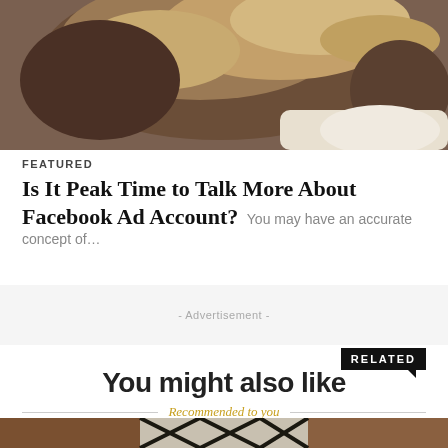[Figure (photo): Blurry close-up photo of a woman with long blonde/brown hair, wearing a white garment, top portion of image]
FEATURED
Is It Peak Time to Talk More About Facebook Ad Account?
You may have an accurate concept of...
- Advertisement -
RELATED
You might also like
Recommended to you
[Figure (photo): Photo of a city bridge (appears to be Manhattan Bridge) with dark steel lattice structure visible between brick buildings]